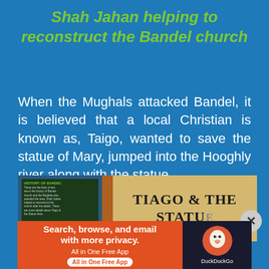Shah Jahan helping to reconstruct the Bandel church
When the Mughals attacked Bandel, it is believed that a local Christian is known as, Taigo, wanted to save the statue of Mary, jumped into the Hooghly river along with the statue.
[Figure (photo): Photo of a museum display showing two panels: left panel shows a dark board with 'History of Bandel' text in green with body text; right panel shows a parchment-style board with bold text 'TIAGO & THE STATU...' (statue, partially visible)]
[Figure (infographic): DuckDuckGo advertisement banner with orange background on left side saying 'Search, browse, and email with more privacy. All in One Free App' and dark background on right with DuckDuckGo duck logo and brand name]